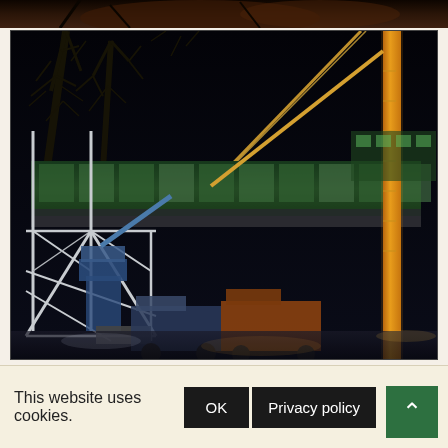[Figure (photo): Partial view of a night scene at top of page, dark with warm tones suggesting outdoor nighttime setting]
[Figure (photo): Night-time construction or engineering scene showing a large yellow crane, green-lit bridge or elevated walkway structure, white scaffolding framework, and construction vehicles on the ground. Trees are silhouetted against the dark sky.]
This website uses cookies.
OK
Privacy policy